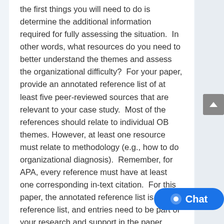the first things you will need to do is determine the additional information required for fully assessing the situation. In other words, what resources do you need to better understand the themes and assess the organizational difficulty? For your paper, provide an annotated reference list of at least five peer-reviewed sources that are relevant to your case study. Most of the references should relate to individual OB themes. However, at least one resource must relate to methodology (e.g., how to do organizational diagnosis). Remember, for APA, every reference must have at least one corresponding in-text citation. For this paper, the annotated reference list is your reference list, and entries need to be part of your research and support in the paper.
An annotated reference list means tha reference is followed by a brief (usually about